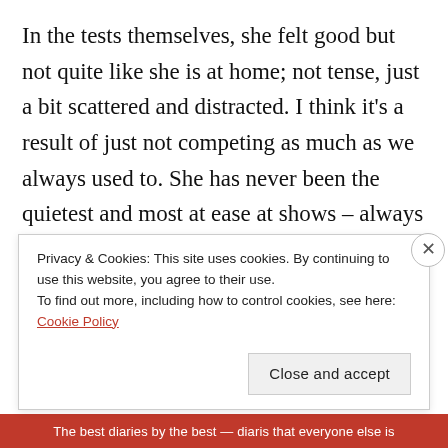In the tests themselves, she felt good but not quite like she is at home; not tense, just a bit scattered and distracted. I think it's a result of just not competing as much as we always used to. She has never been the quietest and most at ease at shows – always trustworthy, and always does her job, but there is often a bit of dragonishness lurking.

This time, it manifested in a couple of silly mistakes. Our first change was an unmitigated disaster – she trotted down, trotted hollowly up into a disunited canter,
Privacy & Cookies: This site uses cookies. By continuing to use this website, you agree to their use.
To find out more, including how to control cookies, see here: Cookie Policy
Close and accept
The best diaries by the best — diaris that everyone else is